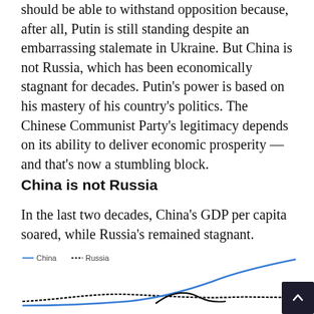should be able to withstand opposition because, after all, Putin is still standing despite an embarrassing stalemate in Ukraine. But China is not Russia, which has been economically stagnant for decades. Putin's power is based on his mastery of his country's politics. The Chinese Communist Party's legitimacy depends on its ability to deliver economic prosperity — and that's now a stumbling block.
China is not Russia
In the last two decades, China's GDP per capita soared, while Russia's remained stagnant.
[Figure (line-chart): Line chart showing China GDP per capita (rising steeply, blue line) and Russia GDP per capita (relatively flat, dark line) over last two decades. Y-axis shows $25K label visible. Chart is partially cut off at bottom.]